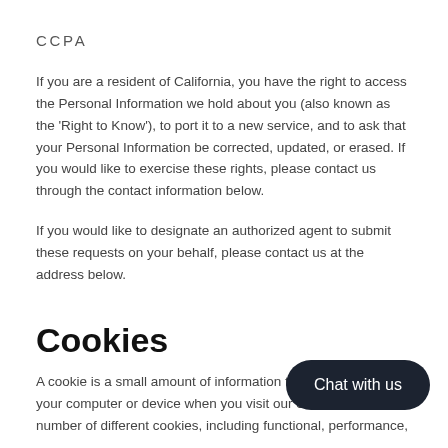CCPA
If you are a resident of California, you have the right to access the Personal Information we hold about you (also known as the 'Right to Know'), to port it to a new service, and to ask that your Personal Information be corrected, updated, or erased. If you would like to exercise these rights, please contact us through the contact information below.
If you would like to designate an authorized agent to submit these requests on your behalf, please contact us at the address below.
Cookies
A cookie is a small amount of information that's downloaded to your computer or device when you visit our Site. We use a number of different cookies, including functional, performance,